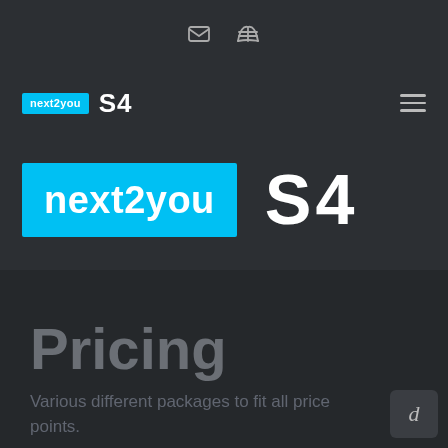[icon: envelope] [icon: map]
[Figure (logo): next2you S4 navigation bar logo with hamburger menu icon]
[Figure (logo): Large hero next2you S4 logo with cyan background on next2you text]
Pricing
Various different packages to fit all price points.